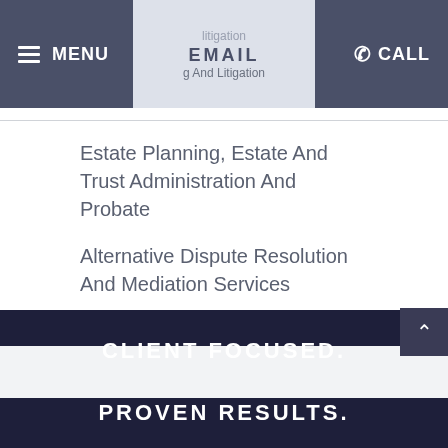MENU | EMAIL | CALL
Estate Planning, Estate And Trust Administration And Probate
Alternative Dispute Resolution And Mediation Services
CLIENT FOCUSED.
PROVEN RESULTS.